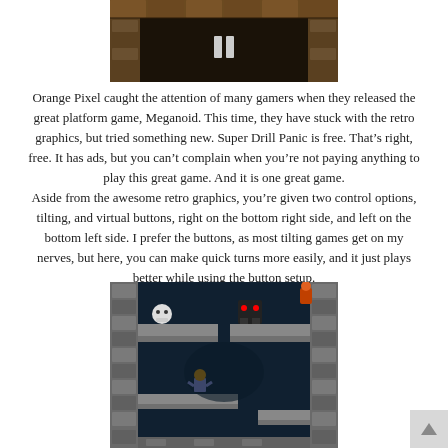[Figure (screenshot): Top portion of a retro platform game screenshot showing brick/stone walls with a pause icon]
Orange Pixel caught the attention of many gamers when they released the great platform game, Meganoid. This time, they have stuck with the retro graphics, but tried something new. Super Drill Panic is free. That’s right, free. It has ads, but you can’t complain when you’re not paying anything to play this great game. And it is one great game.
Aside from the awesome retro graphics, you’re given two control options, tilting, and virtual buttons, right on the bottom right side, and left on the bottom left side. I prefer the buttons, as most tilting games get on my nerves, but here, you can make quick turns more easily, and it just plays better while using the button setup.
[Figure (screenshot): Bottom portion of a retro platform game screenshot showing stone platforms, a skull enemy, a dark monster, and a character in a dark underground environment]